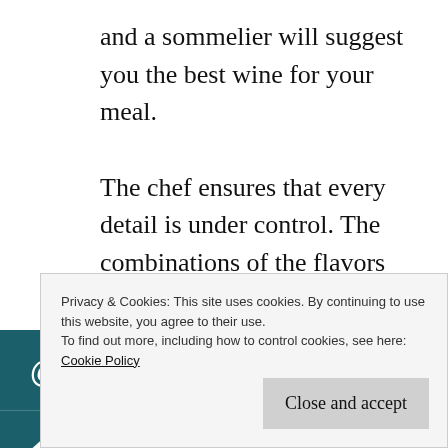and a sommelier will suggest you the best wine for your meal.
The chef ensures that every detail is under control. The combinations of the flavors and he presentation of the dishes are all studied o the minimum detail which makes every lish unique and particularly beautiful, not only tasty.
Privacy & Cookies: This site uses cookies. By continuing to use this website, you agree to their use.
To find out more, including how to control cookies, see here: Cookie Policy
Close and accept